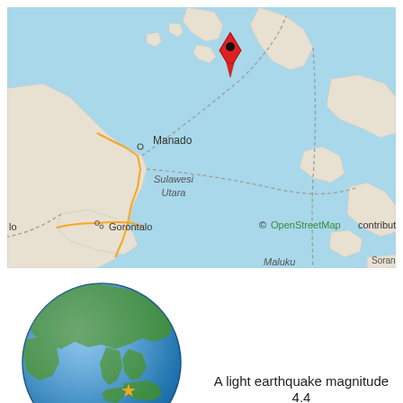[Figure (map): OpenStreetMap regional map showing Sulawesi Utara, Manado, Gorontalo, Maluku Utara, and Soran. A red map pin marker is placed in the northern part of the map near island clusters. Map credit: © OpenStreetMap contributors.]
[Figure (map): Globe image showing Asia-Pacific region with an orange star marker indicating the earthquake location near Indonesia.]
A light earthquake magnitude 4.4